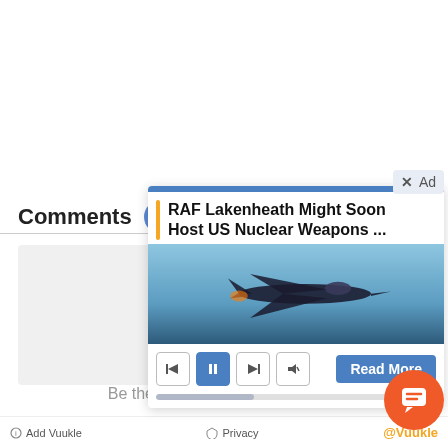Comments 6
[Figure (screenshot): Ad overlay card showing 'RAF Lakenheath Might Soon Host US Nuclear Weapons ...' with a fighter jet image, media playback controls, and a 'Read More' button. The ad has a close (X) and 'Ad' label in top right corner.]
Be the first to comment
Add Vuukle  Privacy  @Vuukle